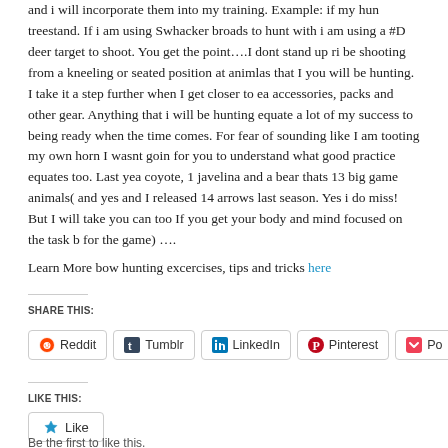and i will incorporate them into my training. Example: if my hun treestand. If i am using Swhacker broads to hunt with i am using a #D deer target to shoot. You get the point….I dont stand up ri be shooting from a kneeling or seated position at animlas that I you will be hunting. I take it a step further when I get closer to ea accessories, packs and other gear. Anything that i will be hunting equate a lot of my success to being ready when the time comes. For fear of sounding like I am tooting my own horn I wasnt goin for you to understand what good practice equates too. Last yea coyote, 1 javelina and a bear thats 13 big game animals( and yes and I released 14 arrows last season. Yes i do miss! But I will take you can too If you get your body and mind focused on the task b for the game) ….
Learn More bow hunting excercises, tips and tricks here
SHARE THIS:
Reddit  Tumblr  LinkedIn  Pinterest  Po...
LIKE THIS:
Like
Be the first to like this.